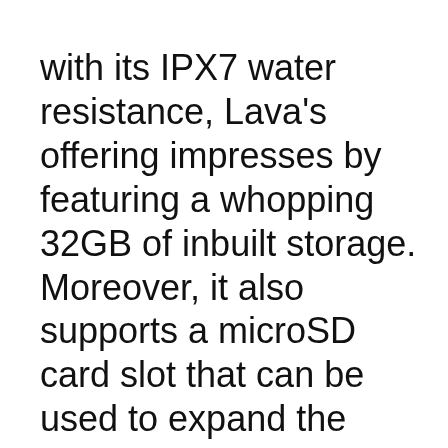with its IPX7 water resistance, Lava's offering impresses by featuring a whopping 32GB of inbuilt storage. Moreover, it also supports a microSD card slot that can be used to expand the space further up to 32GB more. That is great news for those demanding more space from their affordable handsets.
This Android One device features a 5.5-inch IPS display bearing a 720p HD resolution. The phone features extremely small bezels, but is made to look ugly by the black portion that